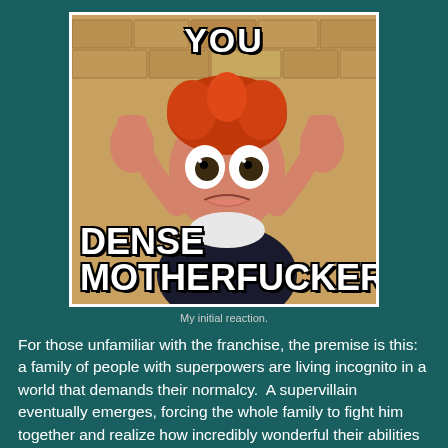[Figure (photo): Meme image of an animated character (Syndrome from The Incredibles) with hands raised and shocked expression, with text 'YOU DENSE MOTHERFUCKER' overlaid in Impact font]
My initial reaction.
For those unfamiliar with the franchise, the premise is this: a family of people with superpowers are living incognito in a world that demands their normalcy.  A supervillain eventually emerges, forcing the whole family to fight him together and realize how incredibly wonderful their abilities are, and in the end, they embrace their gifts, which were previously sources of shame and conflict.
Here are some things I liked about the film.  I liked that it